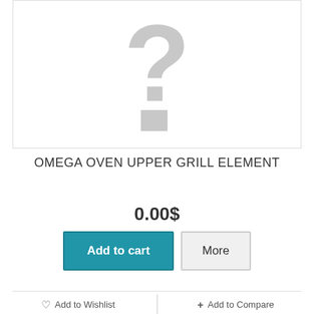[Figure (photo): Placeholder product image with a grey question mark on white background]
OMEGA OVEN UPPER GRILL ELEMENT
0.00$
Add to cart
More
Add to Wishlist
+ Add to Compare